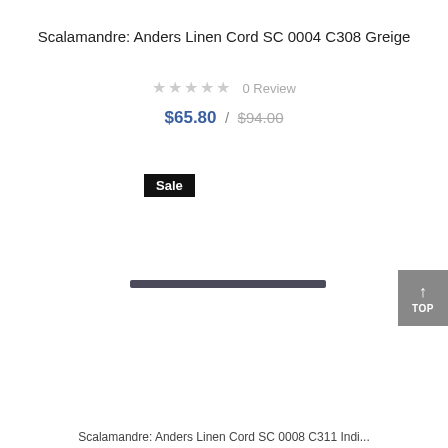Scalamandre: Anders Linen Cord SC 0004 C308 Greige
★★★★★ 0 Review
$65.80 / $94.00
Sale
[Figure (photo): Product image showing a dark grey/charcoal linen cord trim strip]
Scalamandre: Anders Linen Cord SC 0008 C311 Indi...